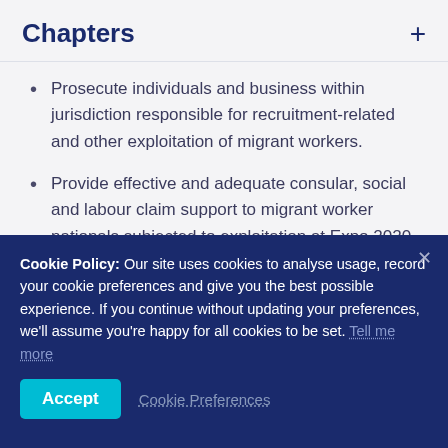Chapters
Prosecute individuals and business within jurisdiction responsible for recruitment-related and other exploitation of migrant workers.
Provide effective and adequate consular, social and labour claim support to migrant worker nationals subjected to exploitation at Expo 2020 Dubai and in the UAE.
Cookie Policy: Our site uses cookies to analyse usage, record your cookie preferences and give you the best possible experience. If you continue without updating your preferences, we'll assume you're happy for all cookies to be set. Tell me more
Accept   Cookie Preferences